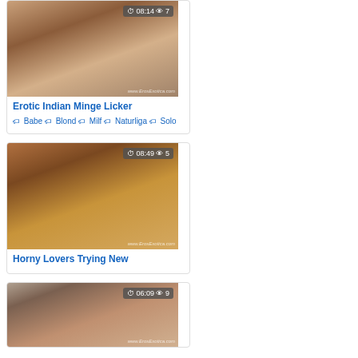[Figure (photo): Video thumbnail for Erotic Indian Minge Licker with badge showing 08:14 duration and 7 views]
Erotic Indian Minge Licker
Babe Blond Milf Naturliga Solo
[Figure (photo): Video thumbnail for Horny Lovers Trying New with badge showing 08:49 duration and 5 views]
Horny Lovers Trying New
[Figure (photo): Video thumbnail with badge showing 06:09 duration and 9 views]